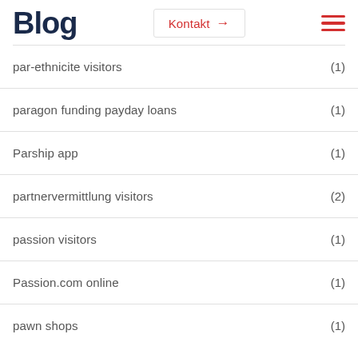Blog
par-ethnicite visitors (1)
paragon funding payday loans (1)
Parship app (1)
partnervermittlung visitors (2)
passion visitors (1)
Passion.com online (1)
pawn shops (1)